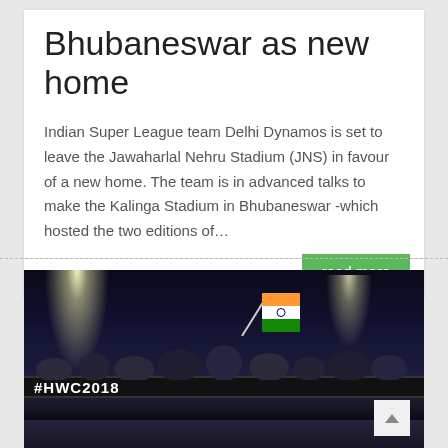Bhubaneswar as new home
Indian Super League team Delhi Dynamos is set to leave the Jawaharlal Nehru Stadium (JNS) in favour of a new home. The team is in advanced talks to make the Kalinga Stadium in Bhubaneswar -which hosted the two editions of…
Bhubaneswar Buzz  April 19, 2019  Sports
[Figure (photo): Crowd at a stadium at night, person waving Indian tricolor flag, #HWC2018 branding visible on barriers]